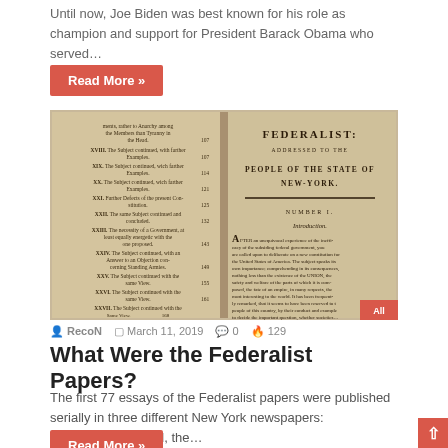Until now, Joe Biden was best known for his role as champion and support for President Barack Obama who served…
Read More »
[Figure (photo): Open book showing Federalist Papers table of contents on left page and title page 'FEDERALIST: ADDRESSED TO THE PEOPLE OF THE STATE OF NEW-YORK. NUMBER I. Introduction.' on right page, with aged yellow-brown paper.]
RecoN   March 11, 2019   0   129
What Were the Federalist Papers?
The first 77 essays of the Federalist papers were published serially in three different New York newspapers: independent journal, the…
Read More »